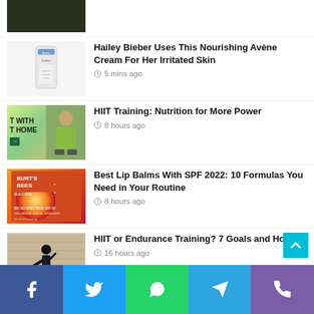[Figure (photo): Partial top image, dark outdoor scene]
[Figure (photo): Avene Cicalfate cream tube on white background]
Hailey Bieber Uses This Nourishing Avène Cream For Her Irritated Skin
5 mins ago
[Figure (photo): HIIT training at home promo image with man in green shirt]
HIIT Training: Nutrition for More Power
8 hours ago
[Figure (photo): Burt's Bees Sun Care Broad Spectrum SPF 30 lip balm product]
Best Lip Balms With SPF 2022: 10 Formulas You Need in Your Routine
8 hours ago
[Figure (photo): Person running outdoors near stone building]
HIIT or Endurance Training? 7 Goals and How
16 hours ago